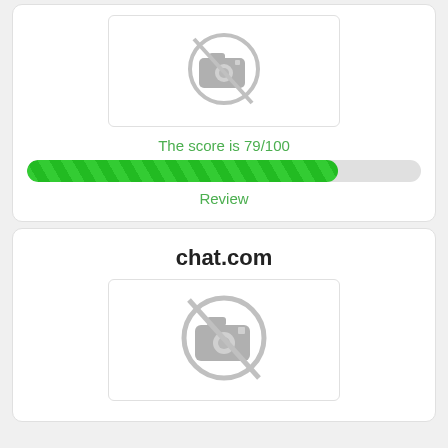[Figure (screenshot): Image placeholder icon with no-camera symbol in a rounded rectangle card]
The score is 79/100
[Figure (infographic): Green striped progress bar showing 79% fill]
Review
chat.com
[Figure (screenshot): Image placeholder icon with no-camera symbol in a rounded rectangle card]